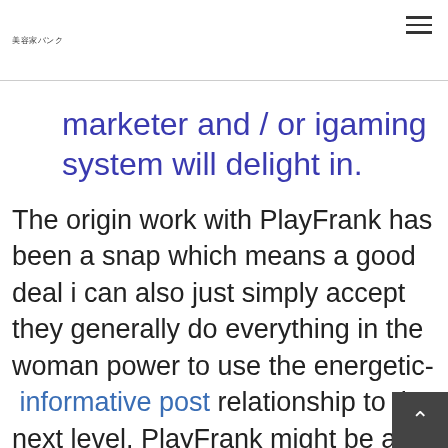美容家バンク
marketer and / or igaming system will delight in.
The origin work with PlayFrank has been a snap which means a good deal i can also just simply accept they generally do everything in the woman power to use the energetic- informative post relationship to the next level. PlayFrank might be a nippy it's essential to current casino that was having fun with very well. We have was